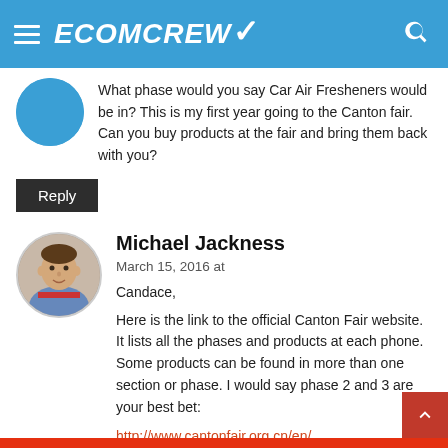ECOMCREW
What phase would you say Car Air Fresheners would be in? This is my first year going to the Canton fair. Can you buy products at the fair and bring them back with you?
Reply
Michael Jackness
March 15, 2016 at
Candace,
Here is the link to the official Canton Fair website. It lists all the phases and products at each phone. Some products can be found in more than one section or phase. I would say phase 2 and 3 are your best bet:
http://www.cantonfair.org.cn/en/
Mike